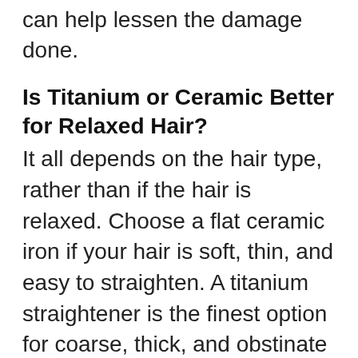can help lessen the damage done.
Is Titanium or Ceramic Better for Relaxed Hair?
It all depends on the hair type, rather than if the hair is relaxed. Choose a flat ceramic iron if your hair is soft, thin, and easy to straighten. A titanium straightener is the finest option for coarse, thick, and obstinate hair.
How Often Can You Straighten Relaxed Hair?